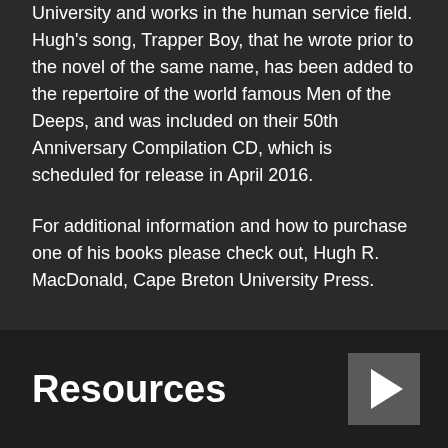online. Hugh is a graduate of Cape Breton University and works in the human service field. Hugh's song, Trapper Boy, that he wrote prior to the novel of the same name, has been added to the repertoire of the world famous Men of the Deeps, and was included on their 50th Anniversary Compilation CD, which is scheduled for release in April 2016.
For additional information and how to purchase one of his books please check out, Hugh R. MacDonald, Cape Breton University Press.
Resources